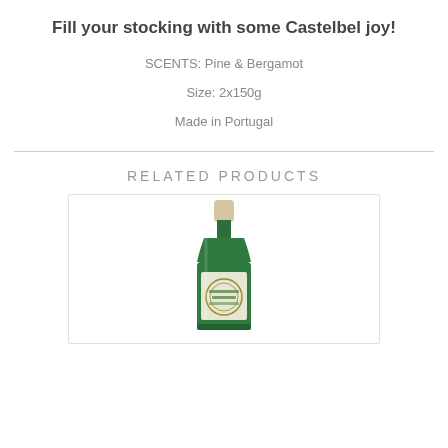Fill your stocking with some Castelbel joy!
SCENTS: Pine & Bergamot
Size: 2x150g
Made in Portugal
RELATED PRODUCTS
[Figure (photo): A dark green glass bottle with a cream/beige cap and decorative label, shown against a white background inside a white bordered card.]